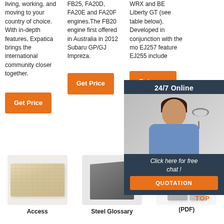living, working, and moving to your country of choice. With in-depth features, Expatica brings the international community closer together.
FB25, FA20D, FA20E and FA20F engines. The FB20 engine first offered in Australia in 2012 Subaru GP/GJ Impreza.
WRX and BE Liberty GT (see table below). Developed in conjunction with the mo EJ257 feature EJ255 include
[Figure (screenshot): 24/7 Online chat popup with female customer service agent wearing headset, and 'Click here for free chat!' message with QUOTATION button]
[Figure (photo): Beige/sandy textured brick or refractory material product image]
[Figure (photo): Grey angular block or steel product image]
[Figure (photo): Two light grey rectangular blocks with orange TOP icon overlay]
Access
Steel Glossary
(PDF)